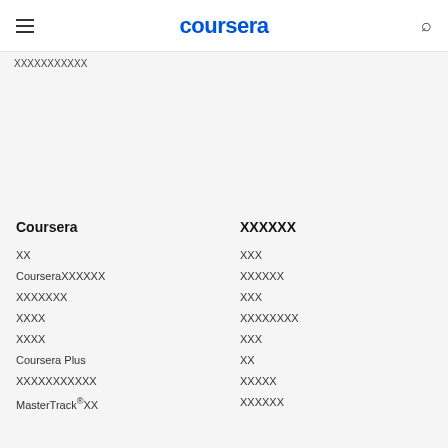coursera
🀆🀆🀆🀆🀆🀆🀆🀆🀆🀆🀆
Coursera
🀆🀆🀆🀆🀆🀆
🀆🀆
🀆🀆🀆
Coursera🀆🀆🀆🀆🀆🀆
🀆🀆🀆🀆🀆🀆
🀆🀆🀆🀆🀆🀆🀆
🀆🀆🀆
🀆🀆🀆🀆
🀆🀆🀆🀆🀆🀆🀆🀆
🀆🀆🀆🀆
🀆🀆🀆
Coursera Plus
🀆🀆
🀆🀆🀆🀆🀆🀆🀆🀆🀆🀆🀆
🀆🀆🀆🀆🀆
MasterTrack®🀆🀆
🀆🀆🀆🀆🀆🀆